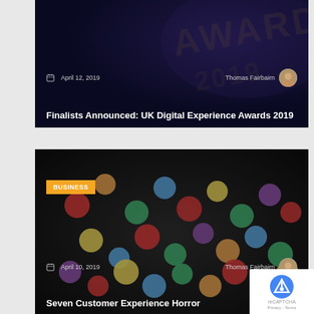[Figure (photo): Dark photo card featuring an awards event backdrop with a person and date/author metadata. Card 1.]
Finalists Announced: UK Digital Experience Awards 2019
[Figure (photo): Dark photo card featuring colorful M&M candies with a BUSINESS tag label and date/author metadata. Card 2.]
Seven Customer Experience Horror